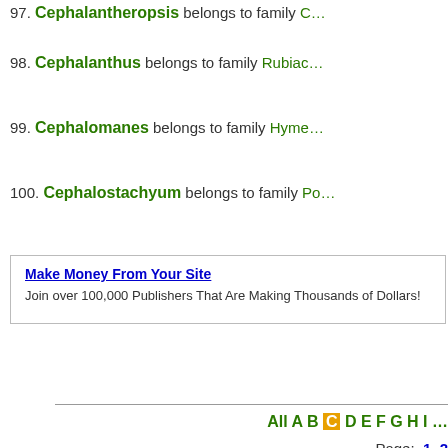97. Cephalantheropsis belongs to family C…
98. Cephalanthus belongs to family Rubiac…
99. Cephalomanes belongs to family Hyme…
100. Cephalostachyum belongs to family Po…
Make Money From Your Site
Join over 100,000 Publishers That Are Making Thousands of Dollars!
All A B C D E F G H I …
Page: 1 2
BVN - BotanyVN - Botany… (…